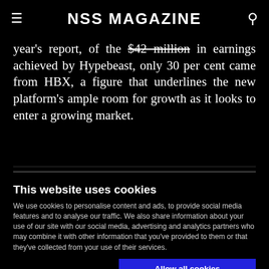NSS MAGAZINE
year's report, of the $42 million in earnings achieved by Hypebeast, only 30 per cent came from HBX, a figure that underlines the new platform's ample room for growth as it looks to enter a growing market.
This website uses cookies
We use cookies to personalise content and ads, to provide social media features and to analyse our traffic. We also share information about your use of our site with our social media, advertising and analytics partners who may combine it with other information that you've provided to them or that they've collected from your use of their services.
Allow all cookies
Allow selection
Use necessary cookies only
Necessary  Preferences  Statistics  Show details  Marketing